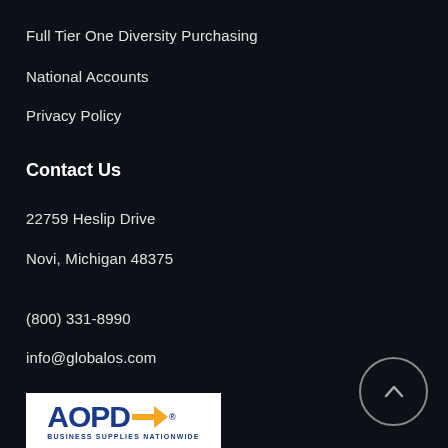Full Tier One Diversity Purchasing
National Accounts
Privacy Policy
Contact Us
22759 Heslip Drive
Novi, Michigan 48375
(800) 331-8990
info@globalos.com
[Figure (logo): AOPD Business Supplies Nationwide logo with blue letters and orange arrow]
[Figure (other): Circular scroll-to-top button with upward arrow]